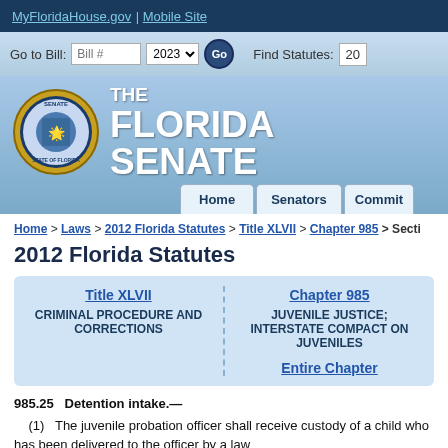MyFloridaHouse.gov | Mobile Site
[Figure (screenshot): Florida Senate website navigation bar with Go to Bill and Find Statutes fields]
[Figure (logo): Florida Senate seal/logo with THE FLORIDA SENATE text and navigation tabs for Home, Senators, Committees]
Home > Laws > 2012 Florida Statutes > Title XLVII > Chapter 985 > Section
2012 Florida Statutes
| Title XLVII
CRIMINAL PROCEDURE AND CORRECTIONS | Chapter 985
JUVENILE JUSTICE; INTERSTATE COMPACT ON JUVENILES
Entire Chapter |
985.25   Detention intake.—
(1)   The juvenile probation officer shall receive custody of a child who has been delivered to the officer by a law enforcement agency and shall review the facts in the law enforcement report